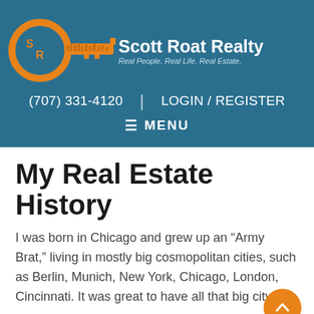[Figure (logo): Scott Roat Realty logo: orange key shape with city skyline silhouette and 'SR' monogram circle, with text 'Scott Roat Realty' and tagline 'Real People. Real Life. Real Estate.' on a teal/dark blue background header]
(707) 331-4120  |  LOGIN / REGISTER
≡ MENU
My Real Estate History
I was born in Chicago and grew up an “Army Brat,” living in mostly big cosmopolitan cities, such as Berlin, Munich, New York, Chicago, London, Cincinnati. It was great to have all that big city